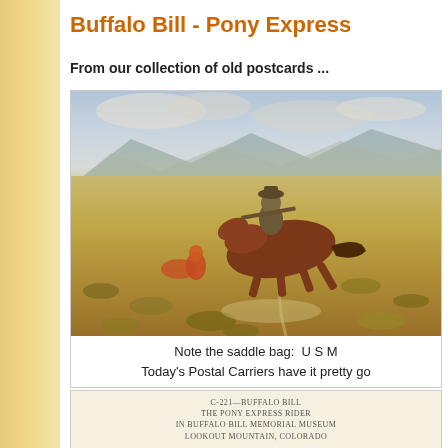Buffalo Bill - Pony Express
From our collection of old postcards ...
[Figure (illustration): Old postcard illustration of a Pony Express rider on horseback galloping across a desert landscape, carrying a rifle, with a Native American figure visible in the background.]
Note the saddle bag:  U S M
Today's Postal Carriers have it pretty go
[Figure (photo): Second postcard showing text: C-221--BUFFALO BILL THE PONY EXPRESS RIDER IN BUFFALO BILL MEMORIAL MUSEUM LOOKOUT MOUNTAIN, COLORADO]